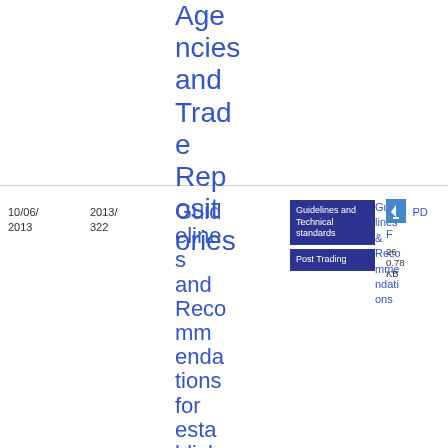Agencies and Trade Repositories
| Date | Ref | Title | Tags | Type | File |
| --- | --- | --- | --- | --- | --- |
| 10/06/2013 | 2013/322 | Guidelines and Recommendations for establishing cons... | Guidelines and Technical standards | Post Trading | Guidelines & Recommendations | PDF 26 0.78 KB |